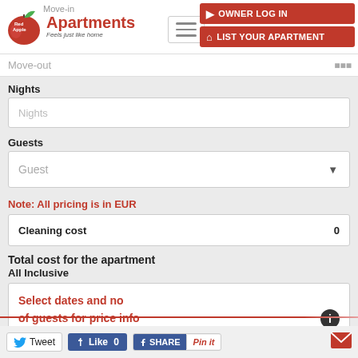[Figure (logo): Red Apple Apartments logo with apple graphic and tagline 'Feels just like home']
Move-in
OWNER LOG IN
LIST YOUR APARTMENT
Move-out
Nights
Nights
Guests
Guest
Note: All pricing is in EUR
Cleaning cost	0
Total cost for the apartment
All Inclusive
Select dates and no of guests for price info
Tweet
Like 0
SHARE
Pin it